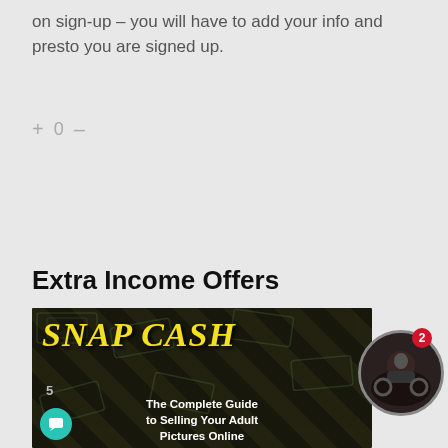on sign-up – you will have to add your info and presto you are signed up.
+ 0 –
Extra Income Offers
[Figure (illustration): Snap Cash advertisement image: dark background with money bills, yellow italic 'SNAP CASH' text, white subtitle 'The Complete Guide to Selling Your Adult Pictures Online']
[Figure (photo): Circular avatar image of a person on a motorcycle, with red notification badge showing '2']